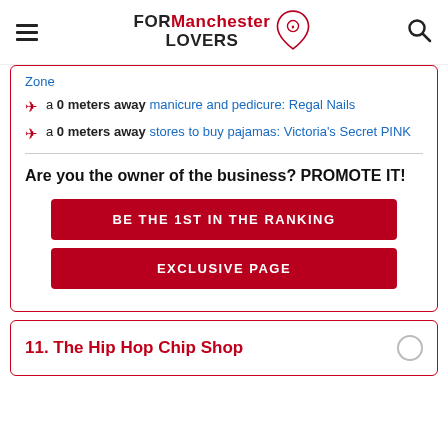FOR Manchester LOVERS
Zone
a 0 meters away manicure and pedicure: Regal Nails
a 0 meters away stores to buy pajamas: Victoria's Secret PINK
Are you the owner of the business? PROMOTE IT!
BE THE 1ST IN THE RANKING
EXCLUSIVE PAGE
11. The Hip Hop Chip Shop